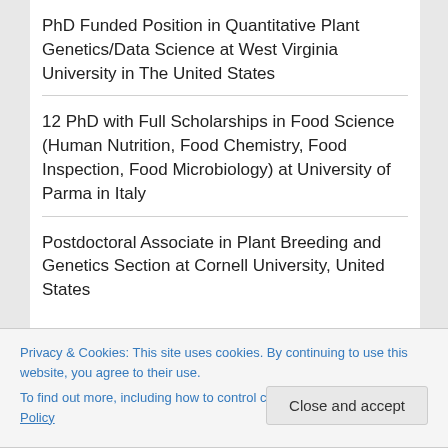PhD Funded Position in Quantitative Plant Genetics/Data Science at West Virginia University in The United States
12 PhD with Full Scholarships in Food Science (Human Nutrition, Food Chemistry, Food Inspection, Food Microbiology) at University of Parma in Italy
Postdoctoral Associate in Plant Breeding and Genetics Section at Cornell University, United States
Privacy & Cookies: This site uses cookies. By continuing to use this website, you agree to their use.
To find out more, including how to control cookies, see here: Cookie Policy